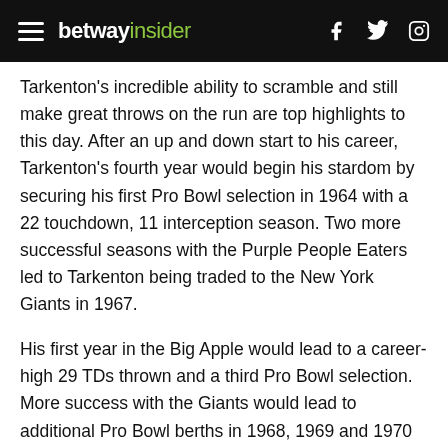betway insider
Tarkenton's incredible ability to scramble and still make great throws on the run are top highlights to this day. After an up and down start to his career, Tarkenton's fourth year would begin his stardom by securing his first Pro Bowl selection in 1964 with a 22 touchdown, 11 interception season. Two more successful seasons with the Purple People Eaters led to Tarkenton being traded to the New York Giants in 1967.
His first year in the Big Apple would lead to a career-high 29 TDs thrown and a third Pro Bowl selection. More success with the Giants would lead to additional Pro Bowl berths in 1968, 1969 and 1970 for Tarkenton. But 1971 arguably produced his most disappointing season of his career, throwing only 11 TDs to 21 INTs. That down season would be his last with the Giants, as they traded him back